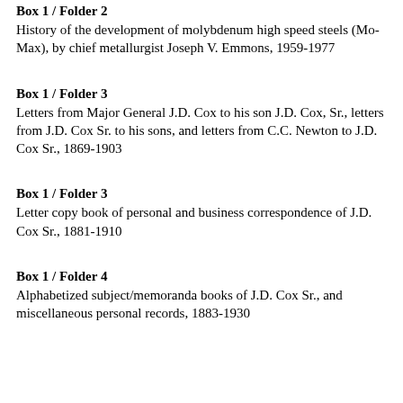Box 1 / Folder 2
History of the development of molybdenum high speed steels (Mo-Max), by chief metallurgist Joseph V. Emmons, 1959-1977
Box 1 / Folder 3
Letters from Major General J.D. Cox to his son J.D. Cox, Sr., letters from J.D. Cox Sr. to his sons, and letters from C.C. Newton to J.D. Cox Sr., 1869-1903
Box 1 / Folder 3
Letter copy book of personal and business correspondence of J.D. Cox Sr., 1881-1910
Box 1 / Folder 4
Alphabetized subject/memoranda books of J.D. Cox Sr., and miscellaneous personal records, 1883-1930